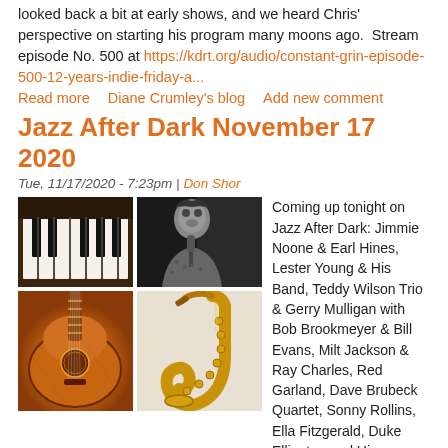looked back a bit at early shows, and we heard Chris' perspective on starting his program many moons ago.  Stream episode No. 500 at https://kdrt.org/audio/constant-grin-episode-500-12-years-indie-friday-a...
Read more    Diane Crumley's blog    Add new comment
Jazz After Dark November 17 2020
Tue, 11/17/2020 - 7:23pm | Don Shor
[Figure (photo): Four photos: piano keys (top left), jazz singer at microphone in black and white (top right), acoustic guitar (bottom left), saxophone (bottom right)]
Coming up tonight on Jazz After Dark: Jimmie Noone & Earl Hines, Lester Young & His Band, Teddy Wilson Trio & Gerry Mulligan with Bob Brookmeyer & Bill Evans, Milt Jackson & Ray Charles, Red Garland, Dave Brubeck Quartet, Sonny Rollins, Ella Fitzgerald, Duke Ellington and His Orchestra, Earl Hines, Abbey Lincoln, James Rivers.
Jazz After Dark broadcasts locally at 8 pm Tuesdays on KDRT-LP 95.7 FM in Davis, CA.